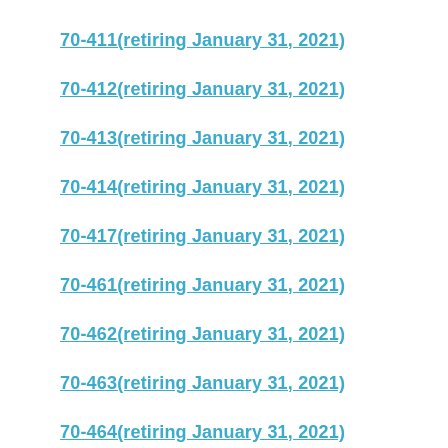70-411(retiring January 31, 2021)
70-412(retiring January 31, 2021)
70-413(retiring January 31, 2021)
70-414(retiring January 31, 2021)
70-417(retiring January 31, 2021)
70-461(retiring January 31, 2021)
70-462(retiring January 31, 2021)
70-463(retiring January 31, 2021)
70-464(retiring January 31, 2021)